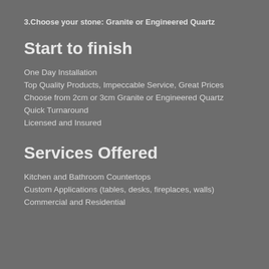3.Choose your stone: Granite or Engineered Quartz
Start to finish
One Day Installation
Top Quality Products, Impeccable Service, Great Prices
Choose from 2cm or 3cm Granite or Engineered Quartz
Quick Turnaround
Licensed and Insured
Services Offered
Kitchen and Bathroom Countertops
Custom Applications (tables, desks, fireplaces, walls)
Commercial and Residential